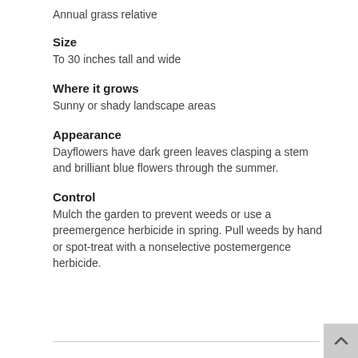Annual grass relative
Size
To 30 inches tall and wide
Where it grows
Sunny or shady landscape areas
Appearance
Dayflowers have dark green leaves clasping a stem and brilliant blue flowers through the summer.
Control
Mulch the garden to prevent weeds or use a preemergence herbicide in spring. Pull weeds by hand or spot-treat with a nonselective postemergence herbicide.